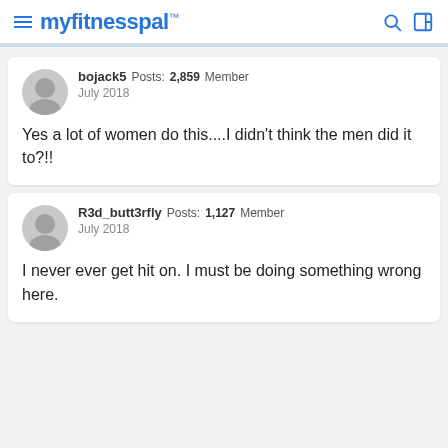myfitnesspal
bojack5  Posts: 2,859  Member
July 2018

Yes a lot of women do this....I didn't think the men did it to?!!
R3d_butt3rfly  Posts: 1,127  Member
July 2018

I never ever get hit on. I must be doing something wrong here.